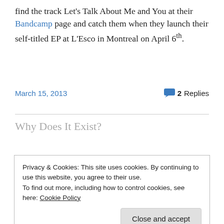find the track Let's Talk About Me and You at their Bandcamp page and catch them when they launch their self-titled EP at L'Esco in Montreal on April 6th.
March 15, 2013 · 2 Replies
Why Does It Exist?
Privacy & Cookies: This site uses cookies. By continuing to use this website, you agree to their use.
To find out more, including how to control cookies, see here: Cookie Policy